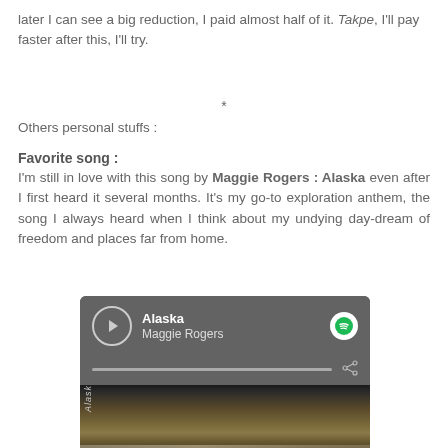later I can see a big reduction, I paid almost half of it. Takpe, I'll pay faster after this, I'll try.
*
Others personal stuffs :
Favorite song :
I'm still in love with this song by Maggie Rogers : Alaska even after I first heard it several months. It's my go-to exploration anthem, the song I always heard when I think about my undying day-dream of freedom and places far from home.
[Figure (screenshot): Spotify music player widget showing the song 'Alaska' by Maggie Rogers with a play button, progress bar, share icon, and album art thumbnail with 'Alaska' text visible.]